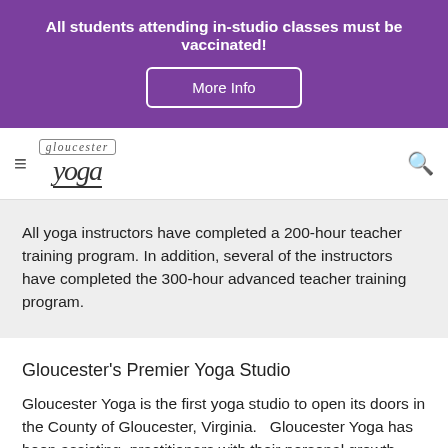All students attending in-studio classes must be vaccinated!
More Info
[Figure (logo): Gloucester Yoga logo with stylized text showing 'gloucester' over 'yoga']
All yoga instructors have completed a 200-hour teacher training program. In addition, several of the instructors have completed the 300-hour advanced teacher training program.
Gloucester's Premier Yoga Studio
Gloucester Yoga is the first yoga studio to open its doors in the County of Gloucester, Virginia.   Gloucester Yoga has been assisting  practitioners with their personal growth since 2016.